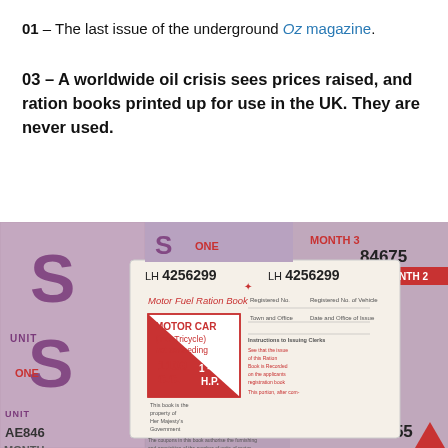01 – The last issue of the underground Oz magazine.
03 – A worldwide oil crisis sees prices raised, and ration books printed up for use in the UK. They are never used.
[Figure (photo): Photograph of Motor Fuel Ration Books from the UK oil crisis, showing a central white booklet labelled 'Motor Fuel Ration Book' for a 'MOTOR CAR (inc. Tricycle) not exceeding 1100 C.C.' with reference number LH 4256299, surrounded by purple fuel ration coupon sheets marked with 'S', 'ONE', 'UNIT', 'MONTH 2', 'MONTH 3', and numbers such as 84675, AE846, 6755.]